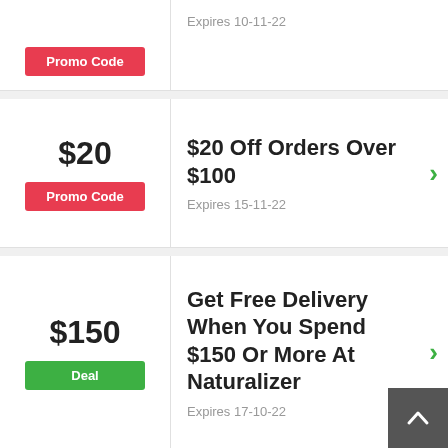Expires 10-11-22
$20
Promo Code
$20 Off Orders Over $100
Expires 15-11-22
$150
Deal
Get Free Delivery When You Spend $150 Or More At Naturalizer
Expires 17-10-22
20%
Handbags 20% + FS - French